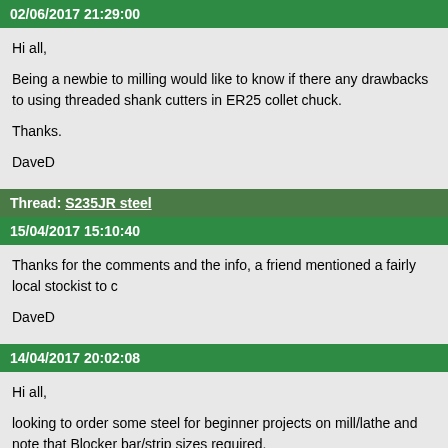02/06/2017 21:29:00
Hi all,

Being a newbie to milling would like to know if there any drawbacks to using threaded shank cutters in ER25 collet chuck.

Thanks.

DaveD
Thread: S235JR steel
15/04/2017 15:10:40
Thanks for the comments and the info, a friend mentioned a fairly local stockist to c

DaveD
14/04/2017 20:02:08
Hi all,

looking to order some steel for beginner projects on mill/lathe and note that Blocker bar/strip sizes required.

Lots of info on S235JR on the web, it's a 'drawn mild steel for construction', but una anybody used it and can report on its machinability ? Am looking for similar to EN1A Blockenstock will post at reasonable cost to my v.rural location and accept Paypal